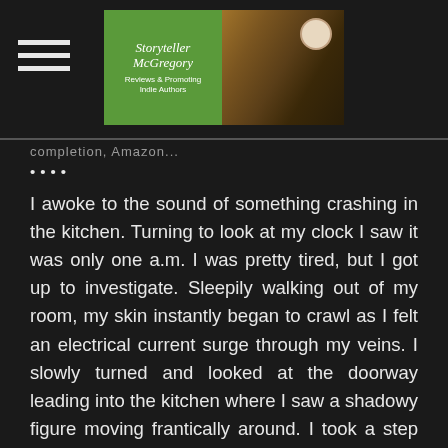Storyteller McGregory — Reviews & Promoting Indie Authors
….
I awoke to the sound of something crashing in the kitchen. Turning to look at my clock I saw it was only one a.m. I was pretty tired, but I got up to investigate. Sleepily walking out of my room, my skin instantly began to crawl as I felt an electrical current surge through my veins. I slowly turned and looked at the doorway leading into the kitchen where I saw a shadowy figure moving frantically around. I took a step backwards, glancing at the shadow that had now stopped in front of me. It had the shape of a male, a frail male, he looked scared of something, but what would a ghost have to fear? The air around me grew very cold, and I noticed the door knob to the side door was shaking violently as if someone were trying to come in and couldn't. The shadowy figure began to step backwards, as if trying to escape.